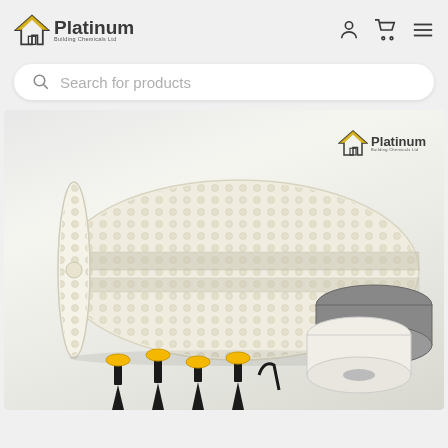[Figure (logo): Platinum Building Chemicals Ltd logo with house icon]
[Figure (screenshot): Search bar with 'Search for products' placeholder text]
[Figure (photo): Product photo showing rolled dimple membrane, tape rolls, and fixing screws with Platinum Building Chemicals Ltd logo watermark]